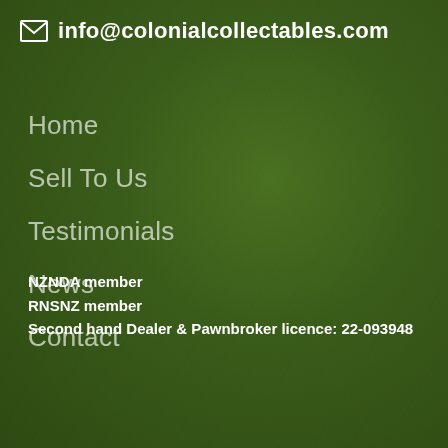✉ info@colonialcollectables.com
Home
Sell To Us
Testimonials
News
Contact
NZNDA member
RNSNZ member
Second hand Dealer & Pawnbroker licence: 22-093948